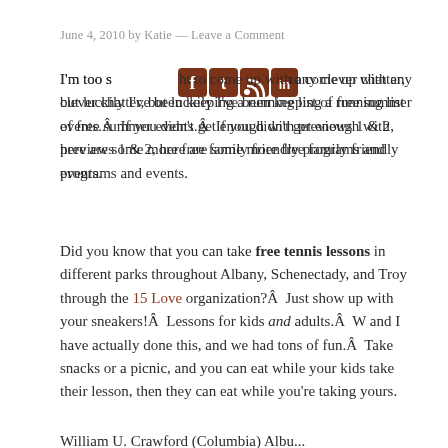June 4, 2010 by Katie — Leave a Comment
[Figure (illustration): Social media icons: Facebook, Twitter, RSS, LinkedIn in brown/dark red square buttons]
I'm too sleepy tonight to come up with any clever chatter, but luckily I've been keeping a running list of free summer events.Â  If you didn't get enough with previews 1 & 2, here are some more free family friendly programs and events.
Did you know that you can take free tennis lessons in different parks throughout Albany, Schenectady, and Troy through the 15 Love organization?Â  Just show up with your sneakers!Â  Lessons for kids and adults.Â  W and I have actually done this, and we had tons of fun.Â  Take snacks or a picnic, and you can eat while your kids take their lesson, then they can eat while you're taking yours.
William U. Crawford (Columbia) Albu...